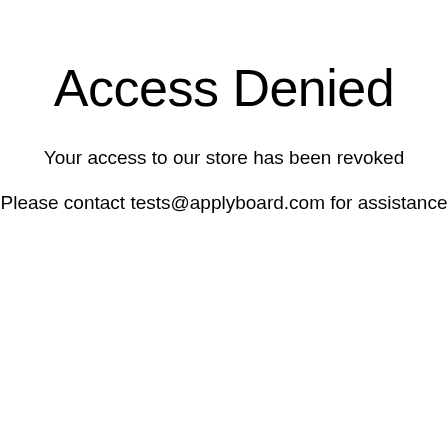Access Denied
Your access to our store has been revoked
Please contact tests@applyboard.com for assistance